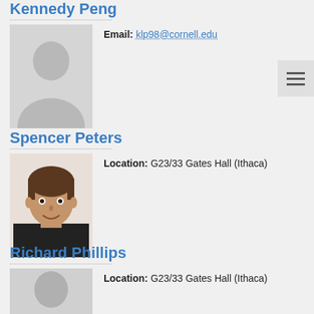Kennedy Peng
Email: klp98@cornell.edu
[Figure (photo): Default placeholder silhouette photo of a person]
Spencer Peters
Location: G23/33 Gates Hall (Ithaca)
[Figure (photo): Photo of Spencer Peters, a young man with brown hair smiling]
Richard Phillips
Location: G23/33 Gates Hall (Ithaca)
[Figure (photo): Partial placeholder silhouette photo of Richard Phillips]